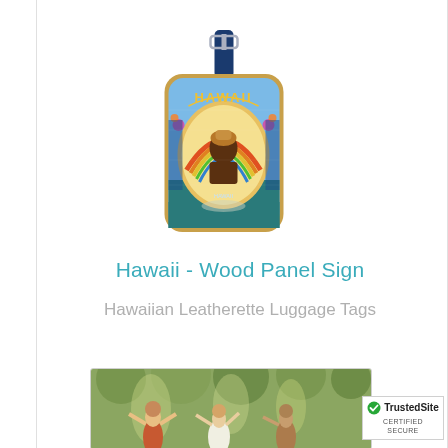[Figure (photo): A luggage tag featuring a colorful Hawaii wood panel sign design with a Hawaiian warrior figure, rainbow and sunset imagery, on a leatherette tag with a dark navy leather strap and metal buckle at the top.]
Hawaii - Wood Panel Sign
Hawaiian Leatherette Luggage Tags
[Figure (photo): Partial view of a second product showing a painting-style image of dancing figures in a garden or outdoor setting, warm impressionist tones.]
[Figure (logo): TrustedSite CERTIFIED SECURE badge with green checkmark]